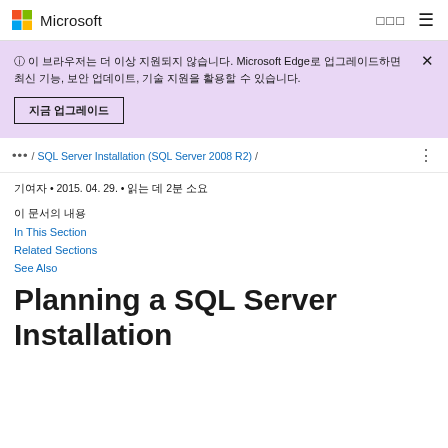Microsoft
이 브라우저는 더 이상 지원되지 않습니다. Microsoft Edge로 업그레이드하면 최신 기능, 보안 업데이트, 기술 지원을 활용할 수 있습니다.
지금 업그레이드
... / SQL Server Installation (SQL Server 2008 R2) /
기여자 • 2015. 04. 29. • 읽는 데 2분 소요
이 문서의 내용
In This Section
Related Sections
See Also
Planning a SQL Server Installation